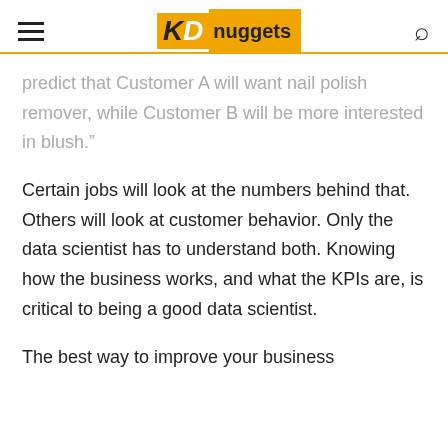KD nuggets
predict that Customer A will want nail polish remover, while Customer B will be more interested in blush.”
Certain jobs will look at the numbers behind that. Others will look at customer behavior. Only the data scientist has to understand both. Knowing how the business works, and what the KPIs are, is critical to being a good data scientist.
The best way to improve your business